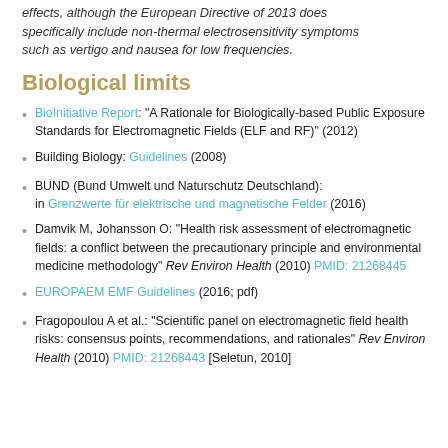effects, although the European Directive of 2013 does specifically include non-thermal electrosensitivity symptoms such as vertigo and nausea for low frequencies.
Biological limits
BioInitiative Report: "A Rationale for Biologically-based Public Exposure Standards for Electromagnetic Fields (ELF and RF)" (2012)
Building Biology: Guidelines (2008)
BUND (Bund Umwelt und Naturschutz Deutschland): in Grenzwerte für elektrische und magnetische Felder (2016)
Damvik M, Johansson O: "Health risk assessment of electromagnetic fields: a conflict between the precautionary principle and environmental medicine methodology" Rev Environ Health (2010) PMID: 21268445
EUROPAEM EMF Guidelines (2016; pdf)
Fragopoulou A et al.: "Scientific panel on electromagnetic field health risks: consensus points, recommendations, and rationales" Rev Environ Health (2010) PMID: 21268443 [Seletun, 2010]